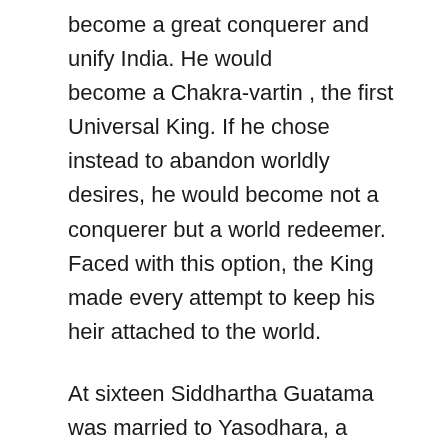become a great conquerer and unify India. He would become a Chakra-vartin , the first Universal King. If he chose instead to abandon worldly desires, he would become not a conquerer but a world redeemer. Faced with this option, the King made every attempt to keep his heir attached to the world.
At sixteen Siddhartha Guatama was married to Yasodhara, a Princess from a neighboring kingdom, who bore him a son called Rahula. Later in life, the man Siddhartha Guatama would become, the man who ate whatever food was placed in his begging bowl, would describe his luxurious upbringing, “I wore garments of silk and my attendants held a